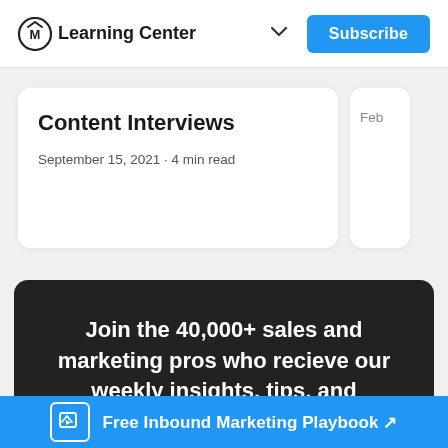Learning Center
Content Interviews
September 15, 2021 · 4 min read
Feb
Join the 40,000+ sales and marketing pros who recieve our weekly insights, tips, and
Free Inbound Marketing Playbook ↗